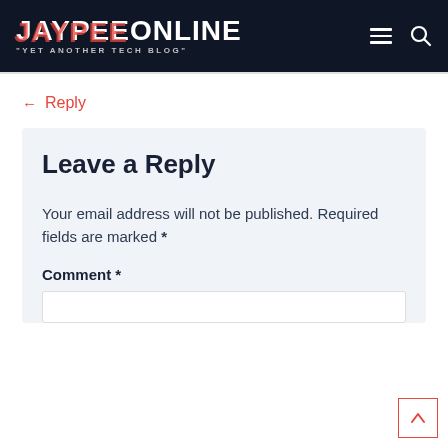JAYPEEONLINE "YET ANOTHER TECH BLOG"
← Reply
Leave a Reply
Your email address will not be published. Required fields are marked *
Comment *